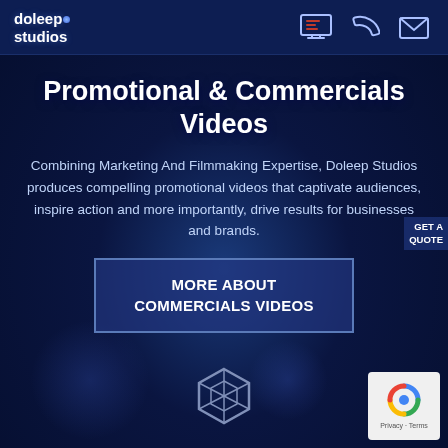[Figure (logo): Doleep Studios logo - white text with blue dot, plus navigation icons: monitor with document, phone handset, envelope]
Promotional & Commercials Videos
Combining Marketing And Filmmaking Expertise, Doleep Studios produces compelling promotional videos that captivate audiences, inspire action and more importantly, drive results for businesses and brands.
GET A QUOTE
MORE ABOUT COMMERCIALS VIDEOS
[Figure (logo): CodePen-style hexagon icon in white outline at the bottom center]
[Figure (other): Google reCAPTCHA badge with blue recycling-style logo and Privacy/Terms links]